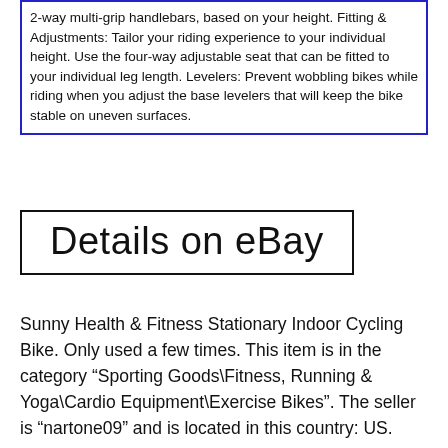2-way multi-grip handlebars, based on your height. Fitting & Adjustments: Tailor your riding experience to your individual height. Use the four-way adjustable seat that can be fitted to your individual leg length. Levelers: Prevent wobbling bikes while riding when you adjust the base levelers that will keep the bike stable on uneven surfaces.
Details on eBay
Sunny Health & Fitness Stationary Indoor Cycling Bike. Only used a few times. This item is in the category “Sporting Goods\Fitness, Running & Yoga\Cardio Equipment\Exercise Bikes”. The seller is “nartone09” and is located in this country: US.
Model: Bike
Brand: Sunny Health Fitness
Type: Upright
Features: Adjustable Seat, Bottle Holder
Material: Steel
Sport/Activity: Gym &